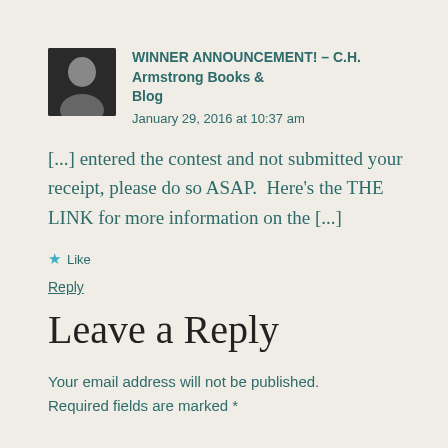WINNER ANNOUNCEMENT! – C.H. Armstrong Books & Blog
January 29, 2016 at 10:37 am
[...] entered the contest and not submitted your receipt, please do so ASAP.  Here's the THE LINK for more information on the [...]
Like
Reply
Leave a Reply
Your email address will not be published. Required fields are marked *